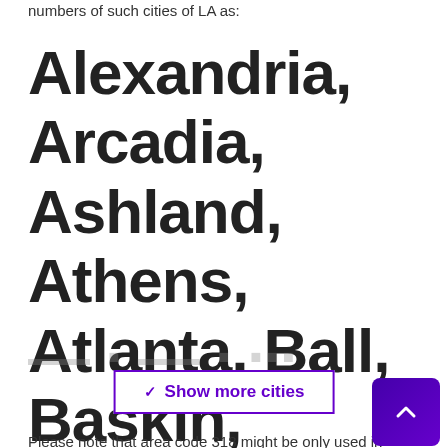numbers of such cities of LA as:
Alexandria, Arcadia, Ashland, Athens, Atlanta, Ball, Baskin, Bastrop, Belcher, Belmont, Benton, ...
Show more cities
Please note that area code 318 might be only used in some parts of the cities above. This practice is especially typical for large cities of the state. In a... we recommend to look at the list of toll-free numbers